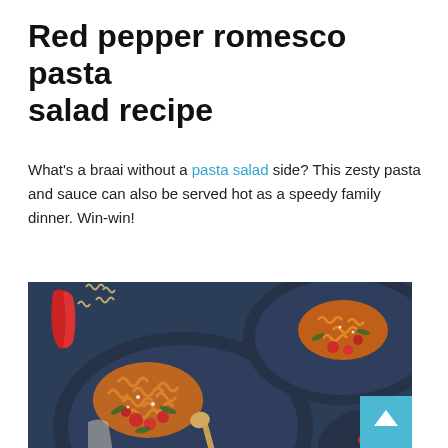Red pepper romesco pasta salad recipe
What's a braai without a pasta salad side? This zesty pasta and sauce can also be served hot as a speedy family dinner. Win-win!
[Figure (photo): Overhead photo of dark blue plates with fusilli pasta in red romesco sauce, topped with cherry tomatoes and rocket (arugula) leaves, on a dark blue surface with a red pepper and scattered uncooked pasta nearby.]